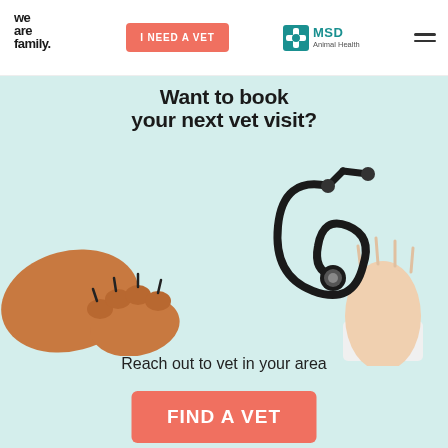[Figure (logo): We Are Family logo in handwritten bold black script]
I NEED A VET
[Figure (logo): MSD Animal Health logo with teal cross icon]
[Figure (photo): Promotional banner showing a dog paw reaching toward a hand holding a stethoscope on a light teal background, with text 'Want to book your next vet visit?' and 'Reach out to vet in your area' and a 'FIND A VET' button]
Want to book your next vet visit?
Reach out to vet in your area
FIND A VET